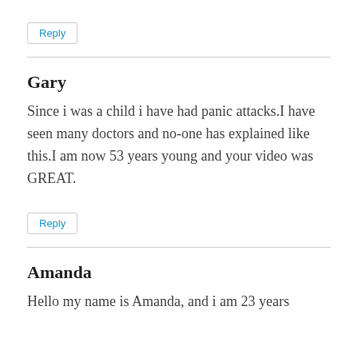Reply
Gary
Since i was a child i have had panic attacks.I have seen many doctors and no-one has explained like this.I am now 53 years young and your video was GREAT.
Reply
Amanda
Hello my name is Amanda, and i am 23 years old.I...